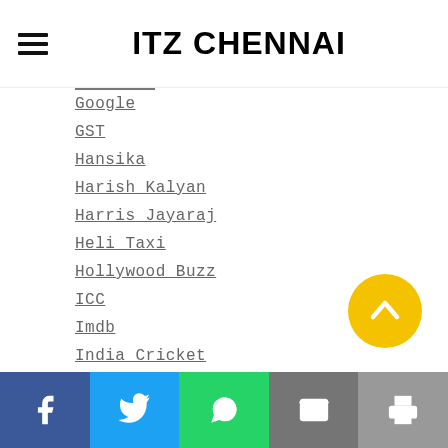ITZ CHENNAI
Google
GST
Hansika
Harish Kalyan
Harris Jayaraj
Heli Taxi
Hollywood Buzz
ICC
Imdb
India Cricket
India News
Indian Politics
Indian Railways
International Buzz
IPhone
[Figure (other): Yellow circular scroll-to-top button with upward chevron icon]
[Figure (other): Social share bar with Facebook, Twitter, WhatsApp, Email, Print buttons]